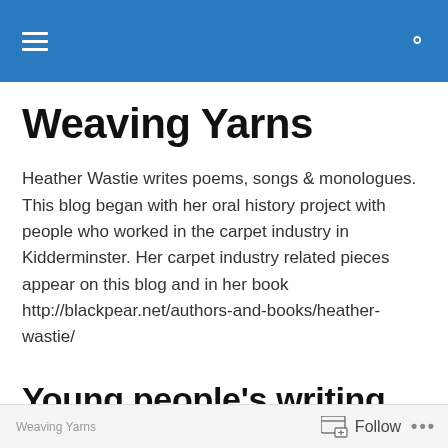Weaving Yarns
Weaving Yarns
Heather Wastie writes poems, songs & monologues. This blog began with her oral history project with people who worked in the carpet industry in Kidderminster. Her carpet industry related pieces appear on this blog and in her book http://blackpear.net/authors-and-books/heather-wastie/
Young people's writing
3 Rhymes by Year 3 class
St Mary's School, Kidderminster
Follow